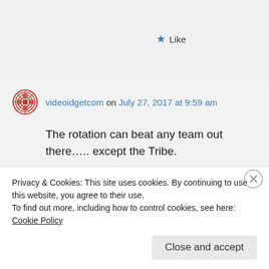Like
videoidgetcom on July 27, 2017 at 9:59 am
The rotation can beat any team out there….. except the Tribe.
Liked by 2 people
Reply
Privacy & Cookies: This site uses cookies. By continuing to use this website, you agree to their use.
To find out more, including how to control cookies, see here: Cookie Policy